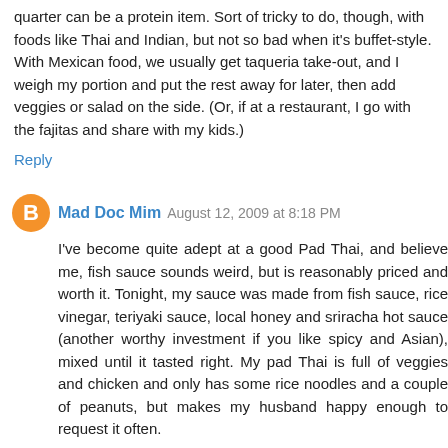quarter can be a protein item. Sort of tricky to do, though, with foods like Thai and Indian, but not so bad when it's buffet-style. With Mexican food, we usually get taqueria take-out, and I weigh my portion and put the rest away for later, then add veggies or salad on the side. (Or, if at a restaurant, I go with the fajitas and share with my kids.)
Reply
Mad Doc Mim  August 12, 2009 at 8:18 PM
I've become quite adept at a good Pad Thai, and believe me, fish sauce sounds weird, but is reasonably priced and worth it. Tonight, my sauce was made from fish sauce, rice vinegar, teriyaki sauce, local honey and sriracha hot sauce (another worthy investment if you like spicy and Asian), mixed until it tasted right. My pad Thai is full of veggies and chicken and only has some rice noodles and a couple of peanuts, but makes my husband happy enough to request it often.
I make lots of stir fry dishes, I cook most of the veggies in